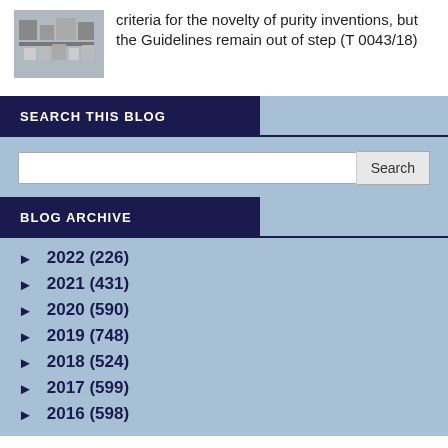[Figure (photo): Thumbnail photo of a laboratory or industrial setting with equipment and machinery]
criteria for the novelty of purity inventions, but the Guidelines remain out of step (T 0043/18)
SEARCH THIS BLOG
BLOG ARCHIVE
► 2022 (226)
► 2021 (431)
► 2020 (590)
► 2019 (748)
► 2018 (524)
► 2017 (599)
► 2016 (598)